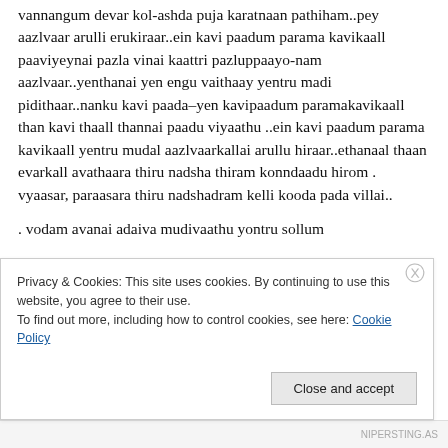vannangum devar kol-ashda puja karatnaan pathiham..pey aazlvaar arulli erukiraar..ein kavi paadum parama kavikaall paaviyeynai pazla vinai kaattri pazluppaayo-nam aazlvaar..yenthanai yen engu vaithaay yentru madi pidithaar..nanku kavi paada–yen kavipaadum paramakavikaall than kavi thaall thannai paadu viyaathu ..ein kavi paadum parama kavikaall yentru mudal aazlvaarkallai arullu hiraar..ethanaal thaan evarkall avathaara thiru nadsha thiram konndaadu hirom . vyaasar, paraasara thiru nadshadram kelli kooda pada villai..
vodam avanai adaiva mudivaathu yontru sollum
Privacy & Cookies: This site uses cookies. By continuing to use this website, you agree to their use.
To find out more, including how to control cookies, see here: Cookie Policy
NIPERSTING.AS